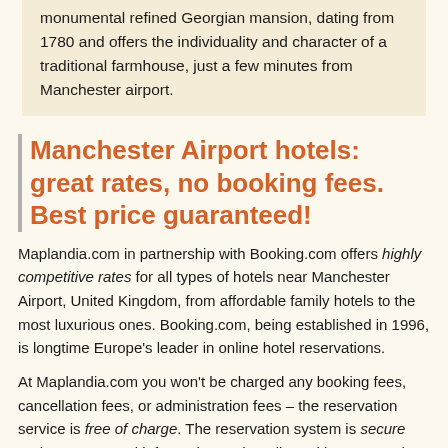monumental refined Georgian mansion, dating from 1780 and offers the individuality and character of a traditional farmhouse, just a few minutes from Manchester airport.
Manchester Airport hotels: great rates, no booking fees. Best price guaranteed!
Maplandia.com in partnership with Booking.com offers highly competitive rates for all types of hotels near Manchester Airport, United Kingdom, from affordable family hotels to the most luxurious ones. Booking.com, being established in 1996, is longtime Europe's leader in online hotel reservations.
At Maplandia.com you won't be charged any booking fees, cancellation fees, or administration fees – the reservation service is free of charge. The reservation system is secure and your personal information and credit card is encrypted.